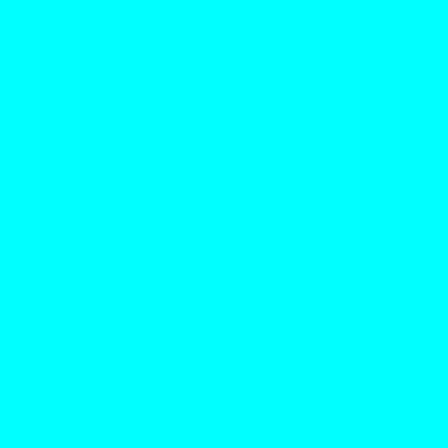| [image] | [qty] | Description |
| --- | --- | --- |
|  | 1 | 1994 Select Baseball Cards 312 Roberto Kelly EX-NM or Better |
|  | 1 | 1994 Select Baseball Cards 313 Harold Reynolds EX-NM or Better |
|  | 1 | 1994 Select Baseball Cards 314 Chris Sabo EX-NM or Better |
|  | 1 | 1994 Select Baseball Cards 315 Howard Johnson EX-NM or Better |